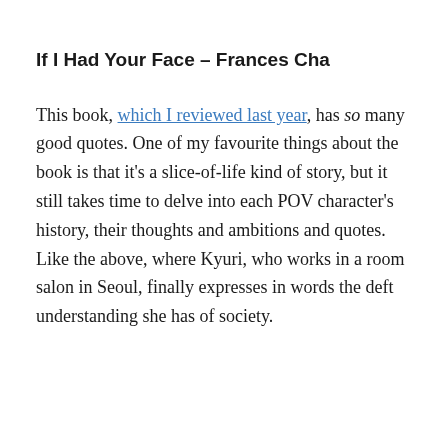If I Had Your Face – Frances Cha
This book, which I reviewed last year, has so many good quotes. One of my favourite things about the book is that it's a slice-of-life kind of story, but it still takes time to delve into each POV character's history, their thoughts and ambitions and quotes. Like the above, where Kyuri, who works in a room salon in Seoul, finally expresses in words the deft understanding she has of society.